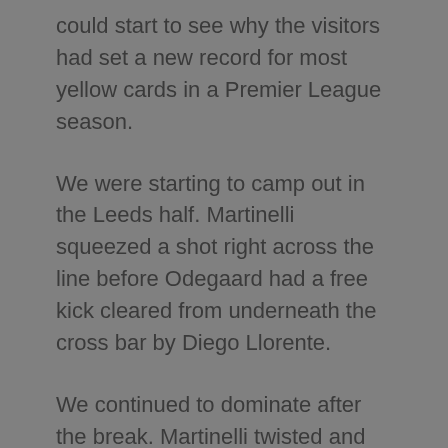could start to see why the visitors had set a new record for most yellow cards in a Premier League season.
We were starting to camp out in the Leeds half. Martinelli squeezed a shot right across the line before Odegaard had a free kick cleared from underneath the cross bar by Diego Llorente.
We continued to dominate after the break. Martinelli twisted and turned his marker before shooting at Meslier at the near post, while Nketiah had a header from a corner blocked.